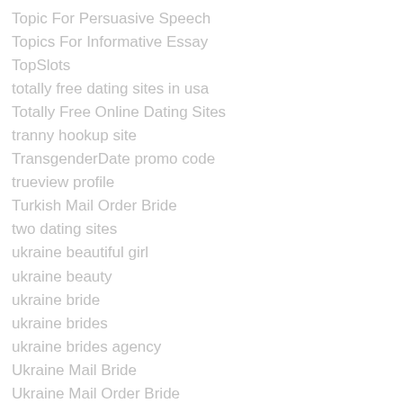Topic For Persuasive Speech
Topics For Informative Essay
TopSlots
totally free dating sites in usa
Totally Free Online Dating Sites
tranny hookup site
TransgenderDate promo code
trueview profile
Turkish Mail Order Bride
two dating sites
ukraine beautiful girl
ukraine beauty
ukraine bride
ukraine brides
ukraine brides agency
Ukraine Mail Bride
Ukraine Mail Order Bride
Ukraine Mail Order Brides